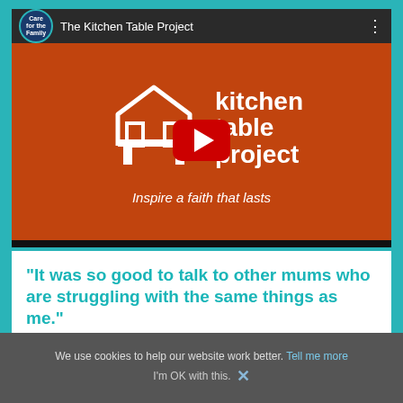[Figure (screenshot): YouTube video thumbnail for 'The Kitchen Table Project' by Care for the Family. Shows a red background with a house/table logo outline in white, bold white text reading 'kitchen table project', a YouTube play button, and subtitle 'Inspire a faith that lasts' in italic white. Top bar shows channel name and logo.]
"It was so good to talk to other mums who are struggling with the same things as me."
We use cookies to help our website work better. Tell me more
I'm OK with this. ×